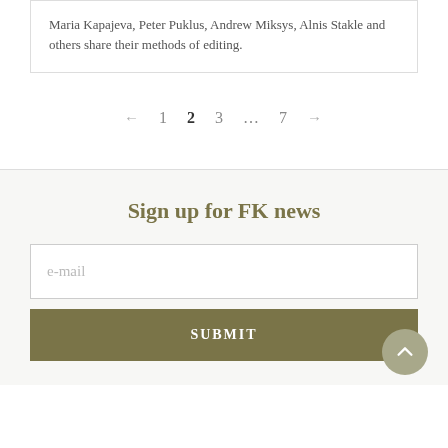Maria Kapajeva, Peter Puklus, Andrew Miksys, Alnis Stakle and others share their methods of editing.
← 1 2 3 … 7 →
Sign up for FK news
e-mail
SUBMIT